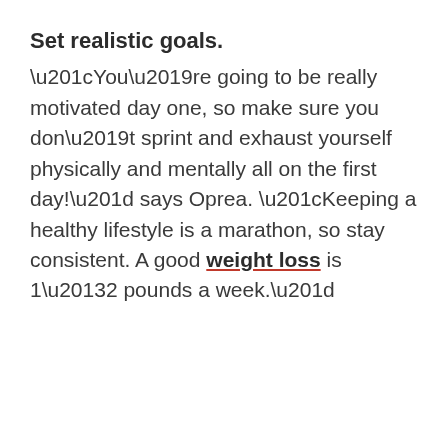Set realistic goals.
“You’re going to be really motivated day one, so make sure you don’t sprint and exhaust yourself physically and mentally all on the first day!” says Oprea. “Keeping a healthy lifestyle is a marathon, so stay consistent. A good weight loss is 1–2 pounds a week.”